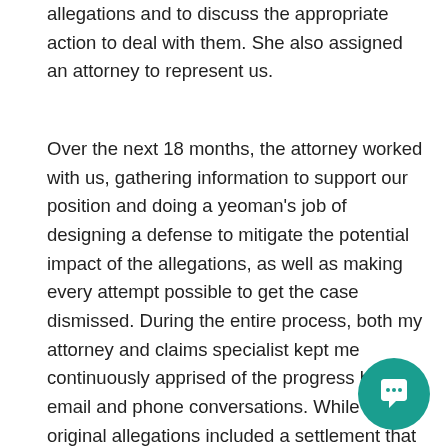allegations and to discuss the appropriate action to deal with them. She also assigned an attorney to represent us.
Over the next 18 months, the attorney worked with us, gathering information to support our position and doing a yeoman's job of designing a defense to mitigate the potential impact of the allegations, as well as making every attempt possible to get the case dismissed. During the entire process, both my attorney and claims specialist kept me continuously apprised of the progress by email and phone conversations. While the original allegations included a settlement that could have been financially devastating, our legal counsel succeeded in achieving a settlement that probably didn't even cover the plaintiff's legal fees. While this matter was a very stressful situation for me and my firm, I have never been more confident that I had the right team on my side. I am truly grateful for the attention to detail that was executed during the whole process. Furthermore, both the claims spe and attorney exhibited a genuine concern that was totally dire and attorney exhibited a genuine concern that was totally dire
[Figure (other): Teal circular chat/message icon button in the bottom-right corner]